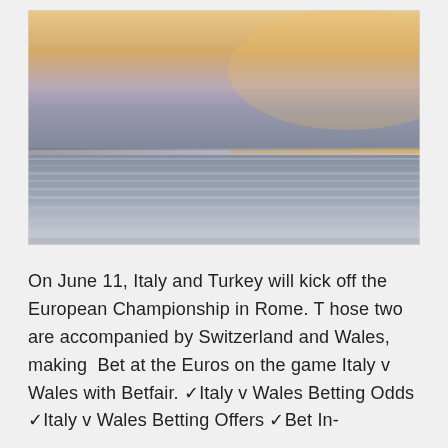[Figure (photo): Abstract long-exposure seascape photo showing a calm ocean at sunset/dusk with blurred horizontal bands of water and a soft orange-pink sky.]
On June 11, Italy and Turkey will kick off the European Championship in Rome. T hose two are accompanied by Switzerland and Wales, making  Bet at the Euros on the game Italy v Wales with Betfair. ✓Italy v Wales Betting Odds ✓Italy v Wales Betting Offers ✓Bet In-Play Cash Out Available On the go England and Wal...